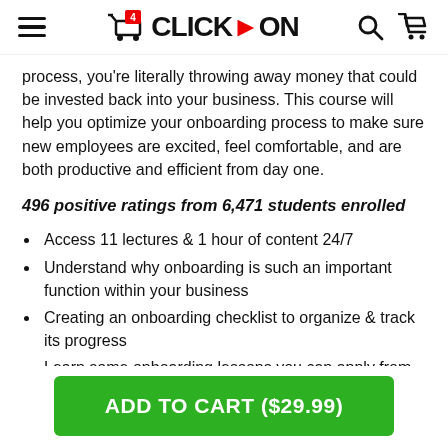4 CLICK>ON
process, you're literally throwing away money that could be invested back into your business. This course will help you optimize your onboarding process to make sure new employees are excited, feel comfortable, and are both productive and efficient from day one.
496 positive ratings from 6,471 students enrolled
Access 11 lectures & 1 hour of content 24/7
Understand why onboarding is such an important function within your business
Creating an onboarding checklist to organize & track its progress
Learn some onboarding lessons you can apply from different industries
Pair your new hire w/ a mentor & other unique onboarding
ADD TO CART ($29.99)